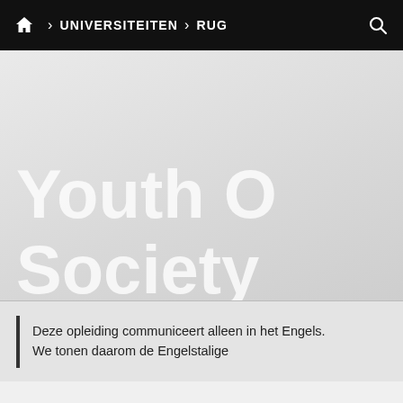🏠 > UNIVERSITEITEN > RUG
Youth O... Society... RUG...
Deze opleiding communiceert alleen in het Engels. We tonen daarom de Engelstalige...